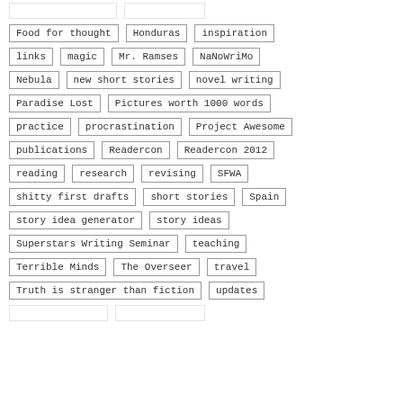Food for thought
Honduras
inspiration
links
magic
Mr. Ramses
NaNoWriMo
Nebula
new short stories
novel writing
Paradise Lost
Pictures worth 1000 words
practice
procrastination
Project Awesome
publications
Readercon
Readercon 2012
reading
research
revising
SFWA
shitty first drafts
short stories
Spain
story idea generator
story ideas
Superstars Writing Seminar
teaching
Terrible Minds
The Overseer
travel
Truth is stranger than fiction
updates